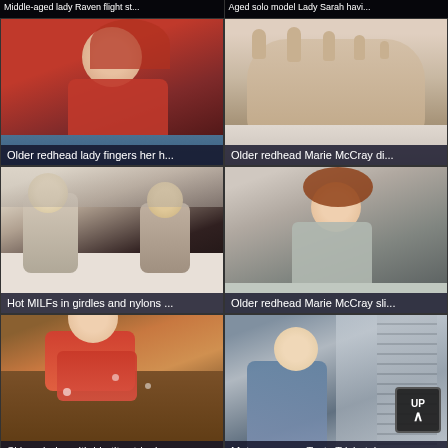Middle-aged lady Raven flight st...
Aged solo model Lady Sarah havi...
[Figure (photo): Older redhead woman in red blouse]
Older redhead lady fingers her h...
[Figure (photo): Close-up of bare feet soles]
Older redhead Marie McCray di...
[Figure (photo): Two women in lingerie on bed]
Hot MILFs in girdles and nylons ...
[Figure (photo): Young redhead woman in casual top]
Older redhead Marie McCray sli...
[Figure (photo): Woman in floral dress]
Skinny babe with big tits strippin...
[Figure (photo): Woman in blue floral dress by window]
Mature woman Tasty Trivia takes...
[Figure (photo): Redhead woman and older man]
[Figure (photo): Blonde woman]